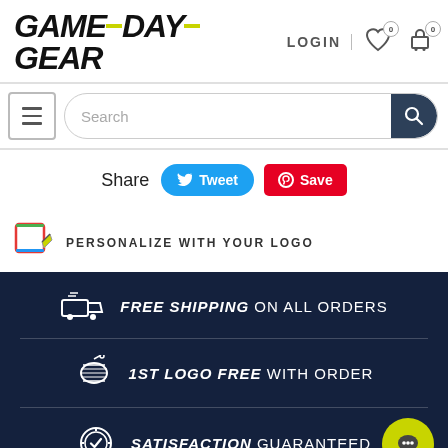[Figure (logo): GAMEDAY GEAR logo with yellow dashes between words, in bold italic black text]
LOGIN
[Figure (infographic): Heart/wishlist icon with badge 0 and shopping cart icon with badge 0]
[Figure (screenshot): Hamburger menu icon (three lines) and search bar with magnifying glass]
Share
[Figure (infographic): Tweet button (Twitter/X) and Save button (Pinterest)]
[Figure (logo): Personalize with your logo icon (colorful edit/pen icon)]
PERSONALIZE WITH YOUR LOGO
[Figure (infographic): Dark navy banner with: truck icon FREE SHIPPING ON ALL ORDERS, thread spool icon 1ST LOGO FREE WITH ORDER, gear/badge icon SATISFACTION GUARANTEED, and a yellow chat bubble icon]